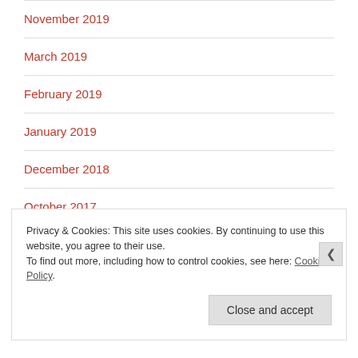November 2019
March 2019
February 2019
January 2019
December 2018
October 2017
Privacy & Cookies: This site uses cookies. By continuing to use this website, you agree to their use.
To find out more, including how to control cookies, see here: Cookie Policy